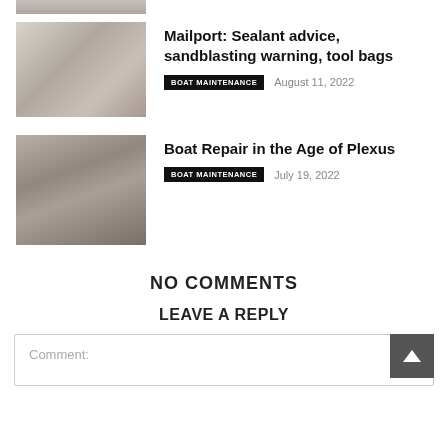[Figure (photo): Partial thumbnail of an article at the top of the page (cropped)]
[Figure (photo): Thumbnail image for article: Mailport: Sealant advice, sandblasting warning, tool bags]
Mailport: Sealant advice, sandblasting warning, tool bags
BOAT MAINTENANCE   August 11, 2022
[Figure (photo): Thumbnail image for article: Boat Repair in the Age of Plexus]
Boat Repair in the Age of Plexus
BOAT MAINTENANCE   July 19, 2022
NO COMMENTS
LEAVE A REPLY
Comment: